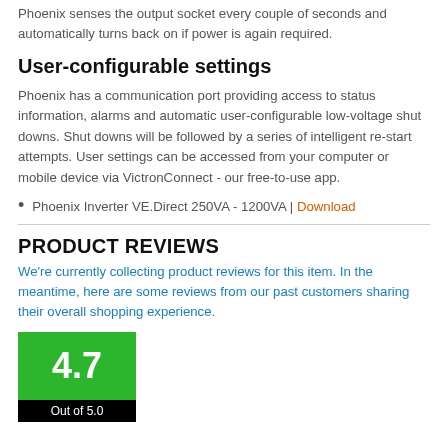Phoenix senses the output socket every couple of seconds and automatically turns back on if power is again required.
User-configurable settings
Phoenix has a communication port providing access to status information, alarms and automatic user-configurable low-voltage shut downs. Shut downs will be followed by a series of intelligent re-start attempts. User settings can be accessed from your computer or mobile device via VictronConnect - our free-to-use app.
Phoenix Inverter VE.Direct 250VA - 1200VA | Download
PRODUCT REVIEWS
We're currently collecting product reviews for this item. In the meantime, here are some reviews from our past customers sharing their overall shopping experience.
[Figure (infographic): Green and black rating box showing 4.7 out of 5.0]